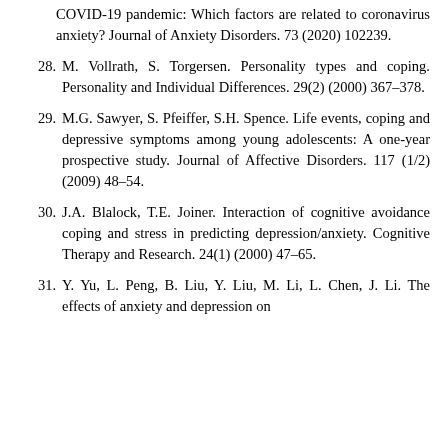COVID-19 pandemic: Which factors are related to coronavirus anxiety? Journal of Anxiety Disorders. 73 (2020) 102239.
28. M. Vollrath, S. Torgersen. Personality types and coping. Personality and Individual Differences. 29(2) (2000) 367–378.
29. M.G. Sawyer, S. Pfeiffer, S.H. Spence. Life events, coping and depressive symptoms among young adolescents: A one-year prospective study. Journal of Affective Disorders. 117 (1/2) (2009) 48–54.
30. J.A. Blalock, T.E. Joiner. Interaction of cognitive avoidance coping and stress in predicting depression/anxiety. Cognitive Therapy and Research. 24(1) (2000) 47–65.
31. Y. Yu, L. Peng, B. Liu, Y. Liu, M. Li, L. Chen, J. Li. The effects of anxiety and depression on